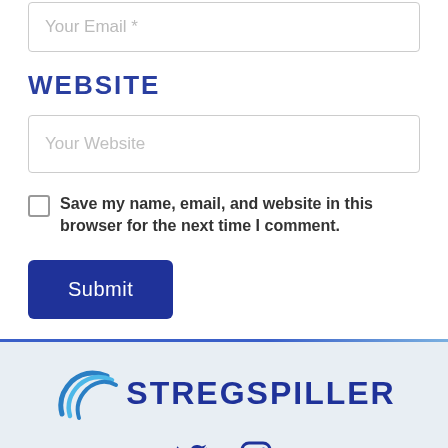Your Email *
WEBSITE
Your Website
Save my name, email, and website in this browser for the next time I comment.
Submit
[Figure (logo): Stregspiller logo with cyan curved lines and dark blue text]
[Figure (other): Twitter and Instagram social media icons]